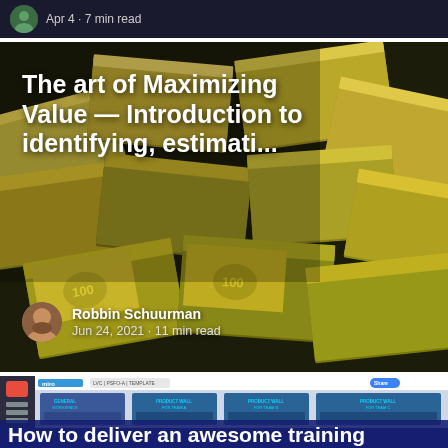Apr 4 · 7 min read
[Figure (photo): Stack of US dollar bills bundled with yellow straps, filling the entire frame, with white bold text overlay showing article title and author info]
The art of Maximizing Value — Introduction to identifying, estimati...
Robbin Schuurman
Jun 24, 2021 · 11 min read
[Figure (screenshot): Screenshot of a Miro board showing LVC PSFO-A template with panels labeled General Workspace, Product Wall for Team A, Product Wall for Team B, Product Wall for Team C]
How to deliver an awesome training